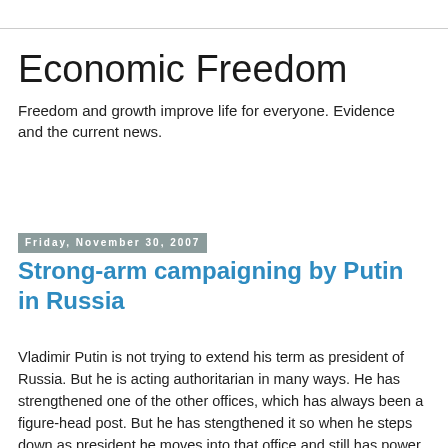Economic Freedom
Freedom and growth improve life for everyone. Evidence and the current news.
Friday, November 30, 2007
Strong-arm campaigning by Putin in Russia
Vladimir Putin is not trying to extend his term as president of Russia. But he is acting authoritarian in many ways. He has strengthened one of the other offices, which has always been a figure-head post. But he has stengthened it so when he steps down as president he moves into that office and still has power. And his political party is using strong-arm methods to get votes. They are destroying the campaign